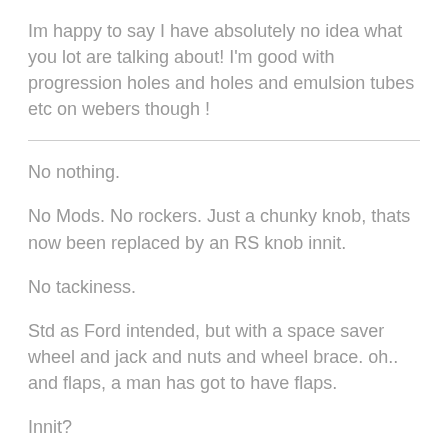Im happy to say I have absolutely no idea what you lot are talking about! I'm good with progression holes and holes and emulsion tubes etc on webers though !
No nothing.
No Mods. No rockers. Just a chunky knob, thats now been replaced by an RS knob innit.
No tackiness.
Std as Ford intended, but with a space saver wheel and jack and nuts and wheel brace. oh.. and flaps, a man has got to have flaps.
Innit?